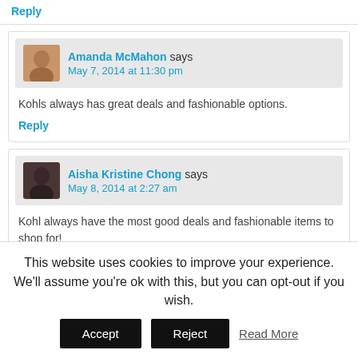Reply
Amanda McMahon says
May 7, 2014 at 11:30 pm
Kohls always has great deals and fashionable options.
Reply
Aisha Kristine Chong says
May 8, 2014 at 2:27 am
Kohl always have the most good deals and fashionable items to shop for!
Reply
This website uses cookies to improve your experience. We'll assume you're ok with this, but you can opt-out if you wish.